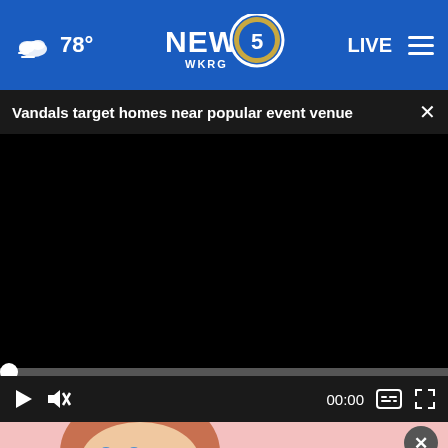78° NEWS 5 WKRG LIVE
Vandals target homes near popular event venue
[Figure (screenshot): Black video player screen with progress bar at 00:00, play button, mute button, captions button, and fullscreen button]
[Figure (photo): Advertisement overlay: person with curly red hair on pink background. Ad banner: '$82 Million Class Action Settlement — IF YOU BOUGHT OR LEASED A NEW CAR OR TRUCK IN CALIFORNIA FROM 2001 - 2003 — FILE YOUR CLAIM NOW']